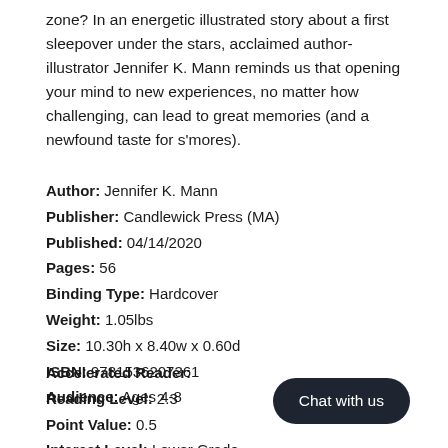zone? In an energetic illustrated story about a first sleepover under the stars, acclaimed author-illustrator Jennifer K. Mann reminds us that opening your mind to new experiences, no matter how challenging, can lead to great memories (and a newfound taste for s'mores).
Author: Jennifer K. Mann
Publisher: Candlewick Press (MA)
Published: 04/14/2020
Pages: 56
Binding Type: Hardcover
Weight: 1.05lbs
Size: 10.30h x 8.40w x 0.60d
ISBN: 9781536207361
Audience: Ages 4-8
Accelerated Reader:
Reading Level: 2.3
Point Value: 0.5
Interest Level: Lower Grade